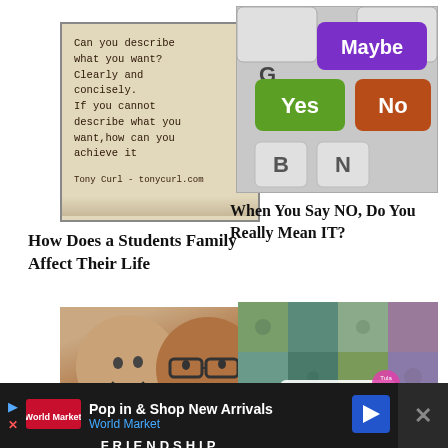[Figure (illustration): Quote image with typewriter font text: 'Can you describe what you want? Clearly and concisely. If you cannot describe what you want,how can you achieve it. Tony Curl - tonycurl.com']
[Figure (photo): Keyboard keys labeled Maybe (purple), Yes (green), No (orange/red) with other regular white keys]
When You Say NO, Do You Really Mean IT?
How Does a Students Family Affect Their Life
[Figure (photo): Two people making funny faces labeled FRIENDSHIP at bottom with tagline 'Love is blind. Friendship closes its eyes.']
[Figure (illustration): Colorful patchwork fabric collage with text 'the Birds & the Bees']
What Type of Friend
Pop in & Shop New Arrivals World Market